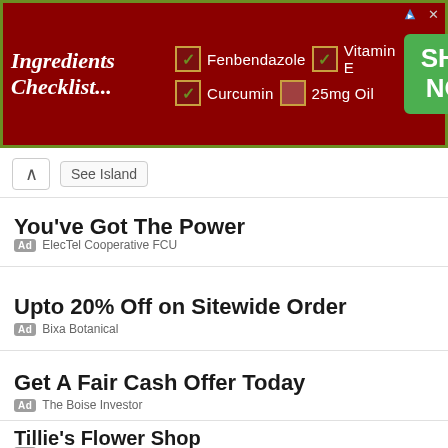[Figure (other): Banner advertisement with dark red background and green border. Shows 'Ingredients Checklist...' text on left with checkboxes for Fenbendazole, Curcumin (checked), Vitamin E (checked), 25mg Oil (unchecked), and a green 'SHOP NOW' button on right.]
See Island
You've Got The Power
Ad  ElecTel Cooperative FCU
Upto 20% Off on Sitewide Order
Ad  Bixa Botanical
Get A Fair Cash Offer Today
Ad  The Boise Investor
Tillie's Flower Shop
Ad  tilliesflowers.com